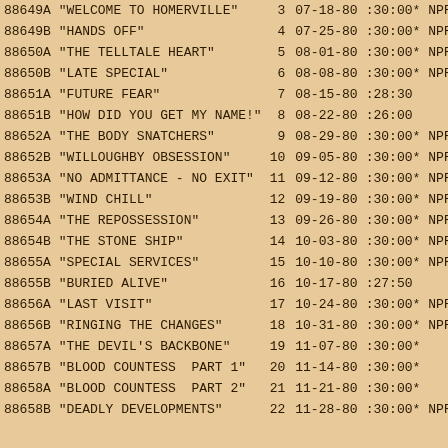| ID | Title | # | Date | Duration | Notes |
| --- | --- | --- | --- | --- | --- |
| 88649A | "WELCOME TO HOMERVILLE" | 3 | 07-18-80 | :30:00* | NPR Rebro |
| 88649B | "HANDS OFF" | 4 | 07-25-80 | :30:00* | NPR Rebro |
| 88650A | "THE TELLTALE HEART" | 5 | 08-01-80 | :30:00* | NPR Rebro |
| 88650B | "LATE SPECIAL" | 6 | 08-08-80 | :30:00* | NPR Rebro |
| 88651A | "FUTURE FEAR" | 7 | 08-15-80 | :28:30 |  |
| 88651B | "HOW DID YOU GET MY NAME!" | 8 | 08-22-80 | :26:00 |  |
| 88652A | "THE BODY SNATCHERS" | 9 | 08-29-80 | :30:00* | NPR Rebro |
| 88652B | "WILLOUGHBY OBSESSION" | 10 | 09-05-80 | :30:00* | NPR Rebro |
| 88653A | "NO ADMITTANCE - NO EXIT" | 11 | 09-12-80 | :30:00* | NPR Rebro |
| 88653B | "WIND CHILL" | 12 | 09-19-80 | :30:00* | NPR Rebro |
| 88654A | "THE REPOSSESSION" | 13 | 09-26-80 | :30:00* | NPR Rebro |
| 88654B | "THE STONE SHIP" | 14 | 10-03-80 | :30:00* | NPR Rebro |
| 88655A | "SPECIAL SERVICES" | 15 | 10-10-80 | :30:00* | NPR Rebro |
| 88655B | "BURIED ALIVE" | 16 | 10-17-80 | :27:50 |  |
| 88656A | "LAST VISIT" | 17 | 10-24-80 | :30:00* | NPR Rebro |
| 88656B | "RINGING THE CHANGES" | 18 | 10-31-80 | :30:00* | NPR Rebro |
| 88657A | "THE DEVIL'S BACKBONE" | 19 | 11-07-80 | :30:00* |  |
| 88657B | "BLOOD COUNTESS  PART 1" | 20 | 11-14-80 | :30:00* |  |
| 88658A | "BLOOD COUNTESS  PART 2" | 21 | 11-21-80 | :30:00* |  |
| 88658B | "DEADLY DEVELOPMENTS" | 22 | 11-28-80 | :30:00* | NPR Rebro |